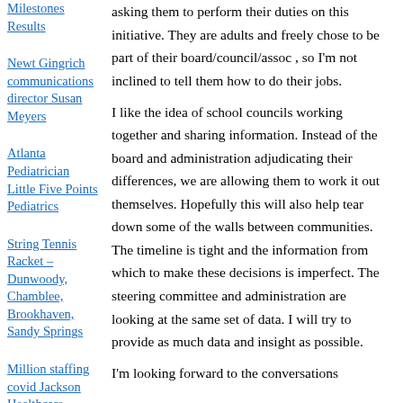Milestones Results
Newt Gingrich communications director Susan Meyers
Atlanta Pediatrician Little Five Points Pediatrics
String Tennis Racket – Dunwoody, Chamblee, Brookhaven, Sandy Springs
Million staffing covid Jackson Healthcare
asking them to perform their duties on this initiative. They are adults and freely chose to be part of their board/council/assoc , so I'm not inclined to tell them how to do their jobs. I like the idea of school councils working together and sharing information. Instead of the board and administration adjudicating their differences, we are allowing them to work it out themselves. Hopefully this will also help tear down some of the walls between communities. The timeline is tight and the information from which to make these decisions is imperfect. The steering committee and administration are looking at the same set of data. I will try to provide as much data and insight as possible. I'm looking forward to the conversations